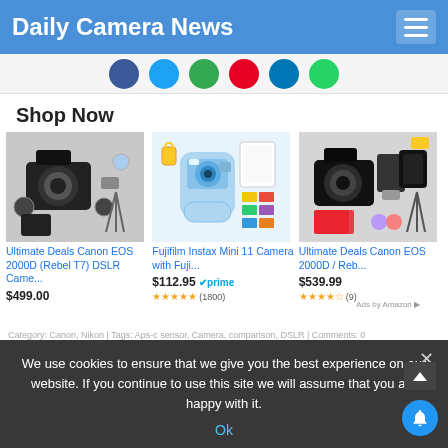Daily Camera News
[Figure (screenshot): Social media sharing icon circles: Facebook (blue), Twitter (cyan), Google+ (green), Pinterest (red), LinkedIn (blue), WhatsApp (green)]
Shop Now
[Figure (photo): Ultimate Deals Canon EOS 2000D (Rebel T7) DSLR Came... product image showing camera kit with accessories]
Ultimate Deals Canon EOS 2000D (Rebel T7) DSLR Came...
$499.00
[Figure (photo): Fujifilm Instax Mini 11 Camera with Fuji... product image showing light blue instant camera with accessories]
Fujifilm Instax Mini 11 Camera with Fuji...
$112.95 prime
(1800) stars
[Figure (photo): Ultimate Deals Canon EOS 2000D / Reb... product image showing camera with accessories and SD cards]
Ultimate Deals Canon EOS 2000D / Reb...
$539.99
(9) stars
We use cookies to ensure that we give you the best experience on our website. If you continue to use this site we will assume that you are happy with it.
Ok
Category: Canon, Nikon | Tags: Aps-c sensor, Camera, comparison, DSLR | Comments: 0